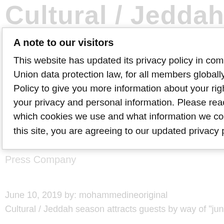Cultural / Jeddah
season attracts
guests by way of
"jungle" with 100
species of stuffed
animals The Saudi
Press Company
June 10, 2019 by: mohammedineoriginal
Cultural / Jeddah season attracts guests by way of "jungle" with 100 kinds of stuffed
A note to our visitors
This website has updated its privacy policy in compliance with changes to European Union data protection law, for all members globally. We’ve also updated our Privacy Policy to give you more information about your rights and responsibilities with respect to your privacy and personal information. Please read this to review the updates about which cookies we use and what information we collect on our site. By continuing to use this site, you are agreeing to our updated privacy policy.
I agree